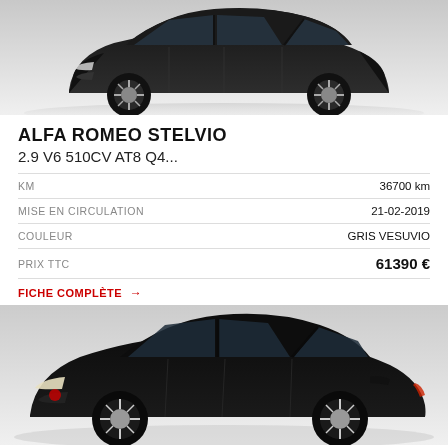[Figure (photo): Dark grey/black Alfa Romeo Stelvio SUV photographed from front-three-quarter angle on light grey background]
ALFA ROMEO STELVIO
2.9 V6 510CV AT8 Q4...
| KM | 36700 km |
| MISE EN CIRCULATION | 21-02-2019 |
| COULEUR | GRIS VESUVIO |
| PRIX TTC | 61390 € |
FICHE COMPLÈTE →
[Figure (photo): Black Alfa Romeo Stelvio SUV photographed from front-three-quarter angle on light grey background]